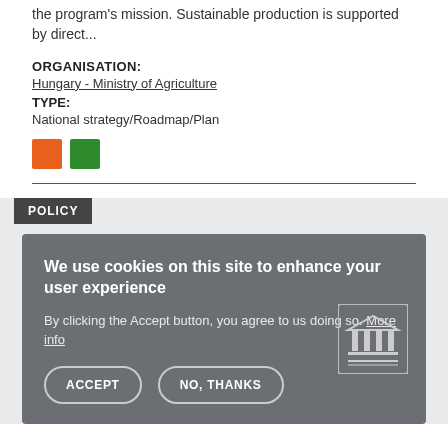the program's mission. Sustainable production is supported by direct...
ORGANISATION:
Hungary - Ministry of Agriculture
TYPE:
National strategy/Roadmap/Plan
[Figure (other): Two colored squares: orange and green]
POLICY
[Figure (screenshot): Cookie consent modal dialog with title 'We use cookies on this site to enhance your user experience', body text 'By clicking the Accept button, you agree to us doing so. More info', and two buttons: ACCEPT and NO, THANKS]